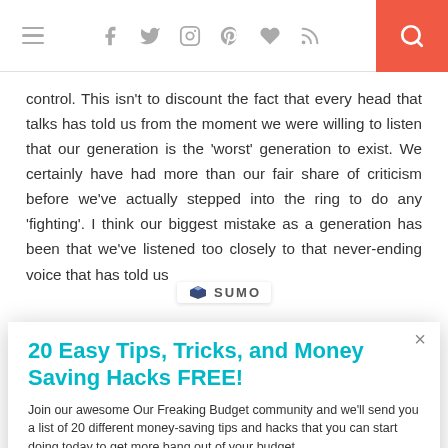Navigation bar with hamburger menu, social icons (facebook, twitter, instagram, pinterest, heart, rss), and search button
control. This isn't to discount the fact that every head that talks has told us from the moment we were willing to listen that our generation is the 'worst' generation to exist. We certainly have had more than our fair share of criticism before we've actually stepped into the ring to do any 'fighting'. I think our biggest mistake as a generation has been that we've listened too closely to that never-ending voice that has told us
20 Easy Tips, Tricks, and Money Saving Hacks FREE!
Join our awesome Our Freaking Budget community and we'll send you a list of 20 different money-saving tips and hacks that you can start doing today to get more bang out of your budget.